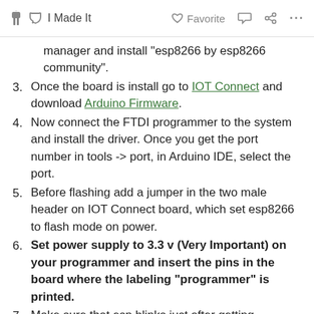✋ I Made It   ♡ Favorite   💬   ⋮⋮⋮   ...
manager and install "esp8266 by esp8266 community".
3. Once the board is install go to IOT Connect and download Arduino Firmware.
4. Now connect the FTDI programmer to the system and install the driver. Once you get the port number in tools -> port, in Arduino IDE, select the port.
5. Before flashing add a jumper in the two male header on IOT Connect board, which set esp8266 to flash mode on power.
6. Set power supply to 3.3 v (Very Important) on your programmer and insert the pins in the board where the labeling "programmer" is printed.
7. Make sure that esp blinks just after getting